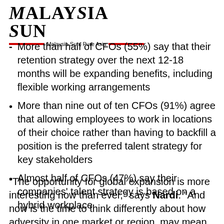Malaysia Sun — Malaysia Sun, Pure Asia
More than half of CFOs (55%) say that their retention strategy over the next 12-18 months will be expanding benefits, including flexible working arrangements
More than nine out of ten CFOs (91%) agree that allowing employees to work in locations of their choice rather than having to backfill a position is the preferred talent strategy for key stakeholders
Almost half of CFOs (47%) say their companies' talent strategy is based on a hybrid workplace
"The opportunity for global expansion is more interesting now than ever," says Nardi. "And now is the time to think differently about how adversity in one market or region, may mean opportunity in